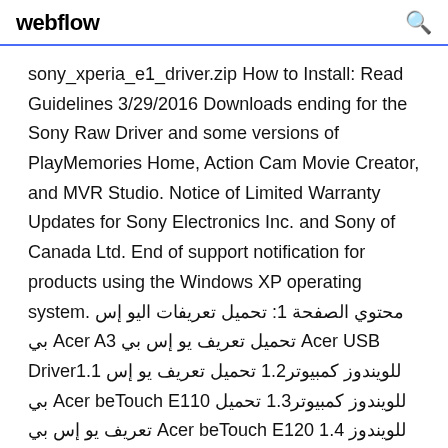webflow
sony_xperia_e1_driver.zip How to Install: Read Guidelines 3/29/2016 Downloads ending for the Sony Raw Driver and some versions of PlayMemories Home, Action Cam Movie Creator, and MVR Studio. Notice of Limited Warranty Updates for Sony Electronics Inc. and Sony of Canada Ltd. End of support notification for products using the Windows XP operating system. محتوي الصفحة 1: تحميل تعريفات اليو إس بي Acer A3 تحميل تعريف يو إس بي Acer USB Driver1.1 للويندوز كمبيوتر1.2 تحميل تعريف يو إس بي Acer beTouch E110 للويندوز كمبيوتر1.3 تحميل تعريف يو إس بي Acer beTouch E120 1.4 للويندوز كمبيوتر تحميل تعريف يو ...